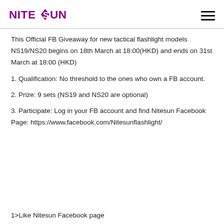NITESUN
This Official FB Giveaway for new tactical flashlight models NS19/NS20 begins on 18th March at 18:00(HKD) and ends on 31st March at 18:00 (HKD)
1. Qualification: No threshold to the ones who own a FB account.
2. Prize: 9 sets (NS19 and NS20 are optional)
3. Participate: Log in your FB account and find Nitesun Facebook Page: https://www.facebook.com/Nitesunflashlight/
1>Like Nitesun Facebook page